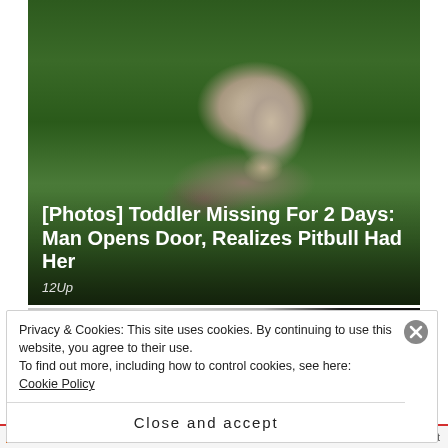[Figure (photo): A large muscular pitbull dog standing on grass outdoors, looking toward the camera with mouth open. The dog has a gray and white coat. Text overlay on bottom of image reads: '[Photos] Toddler Missing For 2 Days: Man Opens Door, Realizes Pitbull Had Her' with source label '12Up'.]
[Photos] Toddler Missing For 2 Days: Man Opens Door, Realizes Pitbull Had Her
12Up
Privacy & Cookies: This site uses cookies. By continuing to use this website, you agree to their use.
To find out more, including how to control cookies, see here: Cookie Policy
Close and accept